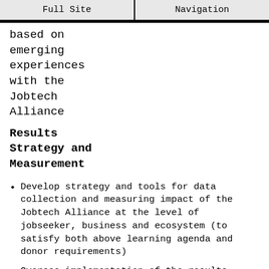Full Site | Navigation
based on emerging experiences with the Jobtech Alliance
Results Strategy and Measurement
Develop strategy and tools for data collection and measuring impact of the Jobtech Alliance at the level of jobseeker, business and ecosystem (to satisfy both above learning agenda and donor requirements)
Oversee implementation of the results